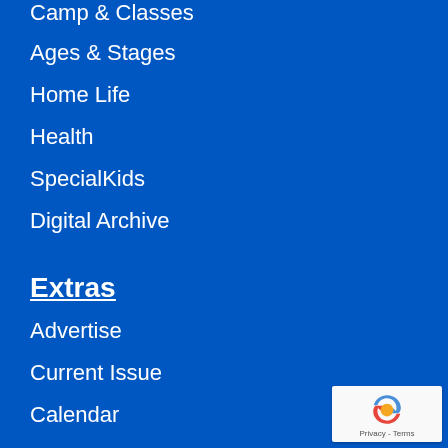Camp & Classes
Ages & Stages
Home Life
Health
SpecialKids
Digital Archive
Extras
Advertise
Current Issue
Calendar
Contests
Family Fun
Guides
Directories